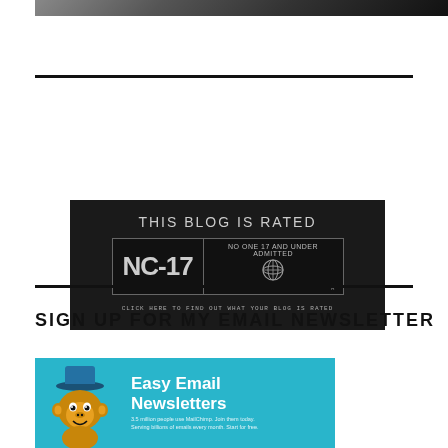[Figure (photo): Dark atmospheric image at top of page, partial view]
[Figure (illustration): Blog rating badge: THIS BLOG IS RATED NC-17, NO ONE 17 AND UNDER ADMITTED, with MPAA-style rating box on dark background. Text: CLICK HERE TO FIND OUT WHAT YOUR BLOG IS RATED]
SIGN UP FOR MY EMAIL NEWSLETTER
[Figure (illustration): MailChimp Easy Email Newsletters banner with cartoon monkey mascot wearing a hat, teal/cyan background, text: Easy Email Newsletters, 3.5 million people use MailChimp. Join them today.]